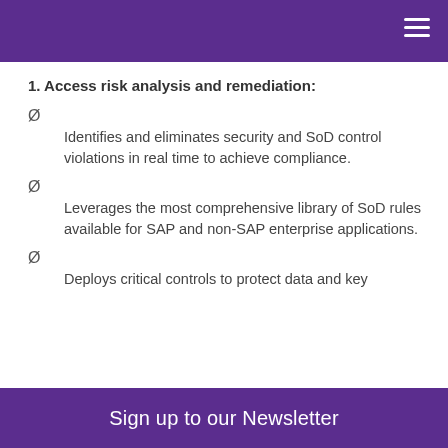1. Access risk analysis and remediation:
Ø

Identifies and eliminates security and SoD control violations in real time to achieve compliance.
Ø

Leverages the most comprehensive library of SoD rules available for SAP and non-SAP enterprise applications.
Ø

Deploys critical controls to protect data and key
Sign up to our Newsletter